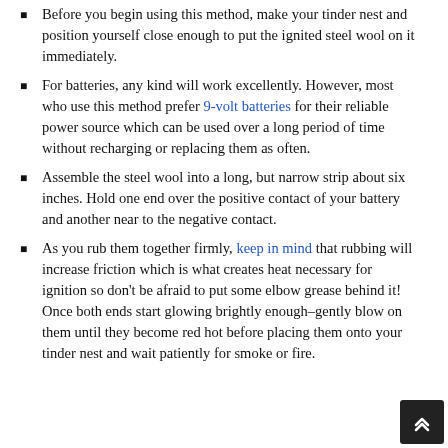Before you begin using this method, make your tinder nest and position yourself close enough to put the ignited steel wool on it immediately.
For batteries, any kind will work excellently. However, most who use this method prefer 9-volt batteries for their reliable power source which can be used over a long period of time without recharging or replacing them as often.
Assemble the steel wool into a long, but narrow strip about six inches. Hold one end over the positive contact of your battery and another near to the negative contact.
As you rub them together firmly, keep in mind that rubbing will increase friction which is what creates heat necessary for ignition so don't be afraid to put some elbow grease behind it! Once both ends start glowing brightly enough–gently blow on them until they become red hot before placing them onto your tinder nest and wait patiently for smoke or fire.